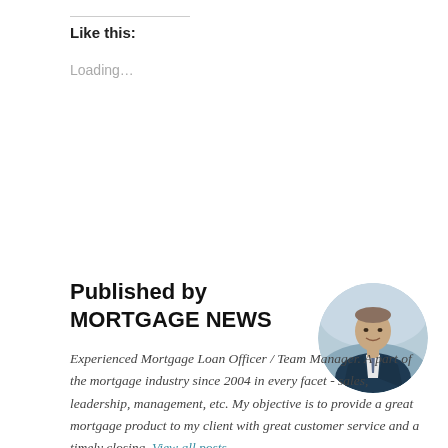Like this:
Loading...
Published by MORTGAGE NEWS
Experienced Mortgage Loan Officer / Team Manager. A part of the mortgage industry since 2004 in every facet - sales, leadership, management, etc. My objective is to provide a great mortgage product to my client with great customer service and a timely closing. View all posts
[Figure (photo): Circular portrait photo of a man in a blue suit and tie, smiling, with a blurred background]